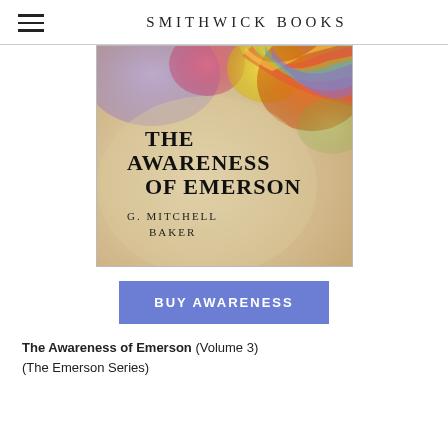SMITHWICK BOOKS
[Figure (photo): Book cover of 'The Awareness of Emerson' by G. Mitchell Baker (Volume 3), showing colorful abstract paint swirls in the background with the book title and author name printed on a textured parchment-like surface.]
BUY AWARENESS
The Awareness of Emerson (Volume 3)
(The Emerson Series)